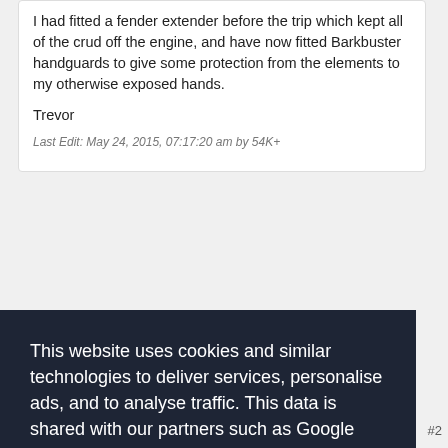I had fitted a fender extender before the trip which kept all of the crud off the engine, and have now fitted Barkbuster handguards to give some protection from the elements to my otherwise exposed hands.
Trevor
Last Edit: May 24, 2015, 07:17:20 am by 54K+
This website uses cookies and similar technologies to deliver services, personalise ads, and to analyse traffic. This data is shared with our partners such as Google and other ad technology providers. By continuing to use this website you agree to this.
View our Privacy and Cookie Policy
I Agree
reasty
#2